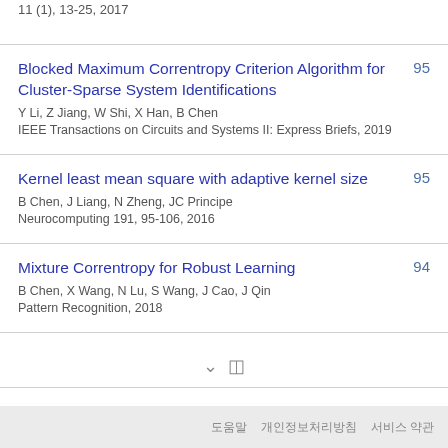11 (1), 13-25, 2017
Blocked Maximum Correntropy Criterion Algorithm for Cluster-Sparse System Identifications
Y Li, Z Jiang, W Shi, X Han, B Chen
IEEE Transactions on Circuits and Systems II: Express Briefs, 2019
95
Kernel least mean square with adaptive kernel size
B Chen, J Liang, N Zheng, JC Principe
Neurocomputing 191, 95-106, 2016
95
Mixture Correntropy for Robust Learning
B Chen, X Wang, N Lu, S Wang, J Cao, J Qin
Pattern Recognition, 2018
94
도움말  개인정보처리방침  서비스 약관